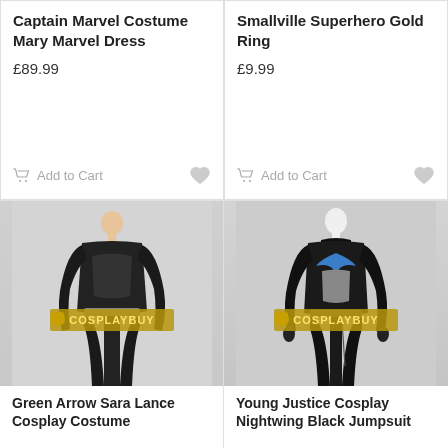Captain Marvel Costume Mary Marvel Dress
£89.99
Add to Cart
Smallville Superhero Gold Ring
£9.99
Add to Cart
[Figure (photo): Green Arrow Sara Lance Cosplay Costume — black leather jacket and pants on a mannequin with COSPLAYBUY watermark]
Green Arrow Sara Lance Cosplay Costume
[Figure (photo): Young Justice Cosplay Nightwing Black Jumpsuit — black suit with blue bat symbol on chest, on a mannequin with COSPLAYBUY watermark]
Young Justice Cosplay Nightwing Black Jumpsuit